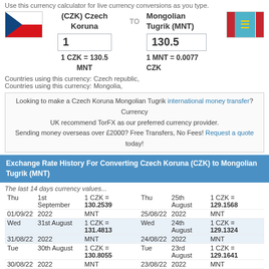Use this currency calculator for live currency conversions as you type.
[Figure (infographic): Czech Koruna to Mongolian Tugrik currency converter showing flags, 1 CZK = 130.5 MNT, 1 MNT = 0.0077 CZK]
Countries using this currency: Czech republic,
Countries using this currency: Mongolia,
Looking to make a Czech Koruna Mongolian Tugrik international money transfer? Currency UK recommend TorFX as our preferred currency provider. Sending money overseas over £2000? Free Transfers, No Fees! Request a quote today!
Exchange Rate History For Converting Czech Koruna (CZK) to Mongolian Tugrik (MNT)
The last 14 days currency values...
| Day | Date | Rate | Day | Date | Rate |
| --- | --- | --- | --- | --- | --- |
| Thu 01/09/22 | 1st September 2022 | 1 CZK = 130.2539 MNT | Thu 25/08/22 | 25th August 2022 | 1 CZK = 129.1568 MNT |
| Wed 31/08/22 | 31st August 2022 | 1 CZK = 131.4813 MNT | Wed 24/08/22 | 24th August 2022 | 1 CZK = 129.1324 MNT |
| Tue 30/08/22 | 30th August 2022 | 1 CZK = 130.8055 MNT | Tue 23/08/22 | 23rd August 2022 | 1 CZK = 129.1641 MNT |